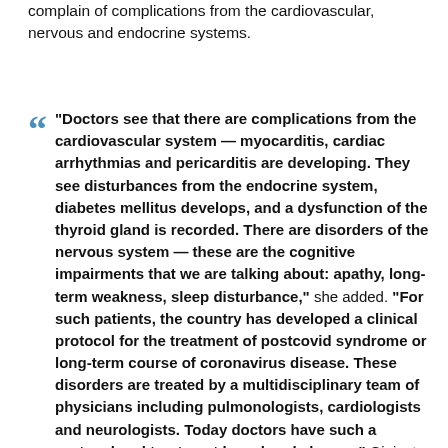complain of complications from the cardiovascular, nervous and endocrine systems.
“Doctors see that there are complications from the cardiovascular system — myocarditis, cardiac arrhythmias and pericarditis are developing. They see disturbances from the endocrine system, diabetes mellitus develops, and a dysfunction of the thyroid gland is recorded. There are disorders of the nervous system — these are the cognitive impairments that we are talking about: apathy, long-term weakness, sleep disturbance,” she added. “For such patients, the country has developed a clinical protocol for the treatment of postcovid syndrome or long-term course of coronavirus disease. These disorders are treated by a multidisciplinary team of physicians including pulmonologists, cardiologists and neurologists. Today doctors have such a protocol and treatment has already begun,” Giniyat said